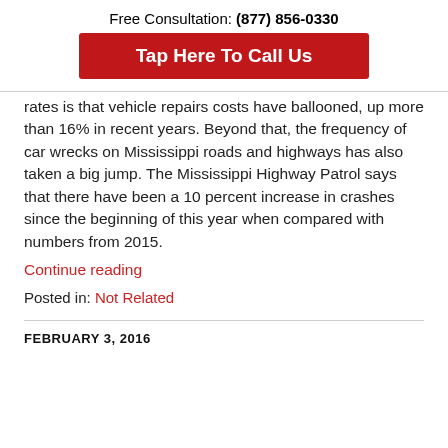Free Consultation: (877) 856-0330
[Figure (other): Red button: Tap Here To Call Us]
rates is that vehicle repairs costs have ballooned, up more than 16% in recent years. Beyond that, the frequency of car wrecks on Mississippi roads and highways has also taken a big jump. The Mississippi Highway Patrol says that there have been a 10 percent increase in crashes since the beginning of this year when compared with numbers from 2015.
Continue reading
Posted in: Not Related
FEBRUARY 3, 2016